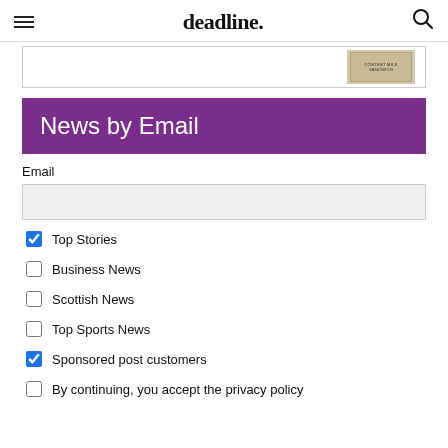deadline.
[Figure (other): Partial advertisement banner with a product image on right side]
News by Email
Email
Top Stories (checked)
Business News (unchecked)
Scottish News (unchecked)
Top Sports News (unchecked)
Sponsored post customers (checked)
By continuing, you accept the privacy policy (unchecked)